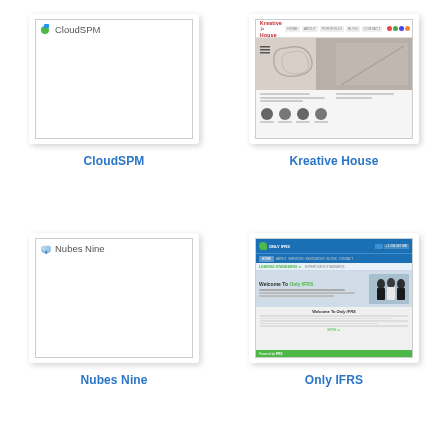[Figure (screenshot): CloudSPM website screenshot thumbnail — white background with CloudSPM logo text and icon in top-left corner, mostly blank white content area, with border and drop shadow]
CloudSPM
[Figure (screenshot): Kreative House website screenshot thumbnail — shows a website with red logo header, navigation bar, decorative staircase hero image, and service icons below]
Kreative House
[Figure (screenshot): Nubes Nine website screenshot thumbnail — white background with Nubes Nine logo text and icon in top-left corner, mostly blank white content area, with border and drop shadow]
Nubes Nine
[Figure (screenshot): Only IFRS website screenshot — shows a website with blue header containing the Only IFRS logo, navigation, sub-navigation bar, hero section with people photo and welcome text, body content, and green footer]
Only IFRS